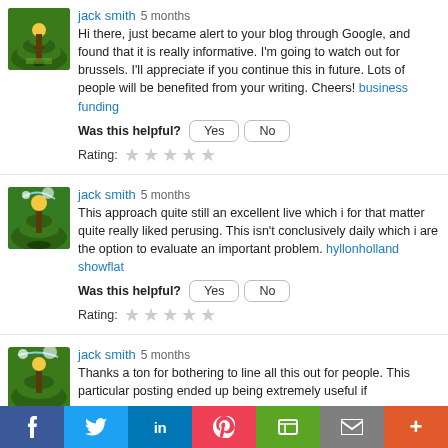jack smith 5 months
Hi there, just became alert to your blog through Google, and found that it is really informative. I'm going to watch out for brussels. I'll appreciate if you continue this in future. Lots of people will be benefited from your writing. Cheers! business funding
Was this helpful? Yes No
Rating: ☆ ☆ ☆ ☆ ☆
jack smith 5 months
This approach quite still an excellent live which i for that matter quite really liked perusing. This isn't conclusively daily which i are the option to evaluate an important problem. hyllonholland showflat
Was this helpful? Yes No
Rating: ☆ ☆ ☆ ☆ ☆
jack smith 5 months
Thanks a ton for bothering to line all this out for people. This particular posting ended up being extremely useful if
[Figure (infographic): Social sharing bar with Facebook, Twitter, LinkedIn, Pocket, Evernote, Email, and Plus buttons]